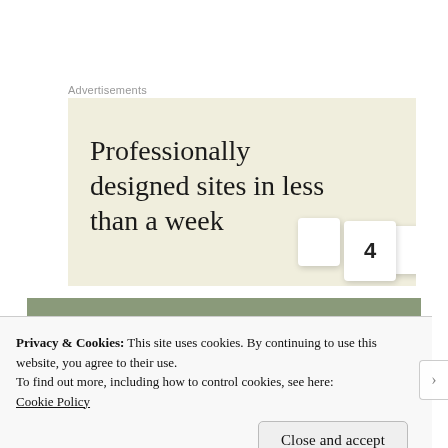Advertisements
[Figure (illustration): Advertisement banner with cream/beige background showing text 'Professionally designed sites in less than a week' with keyboard key imagery on the right side]
[Figure (photo): Nature photograph showing dry grass, small red flowers/plants, and a rock in a natural outdoor setting]
Privacy & Cookies: This site uses cookies. By continuing to use this website, you agree to their use.
To find out more, including how to control cookies, see here:
Cookie Policy
Close and accept